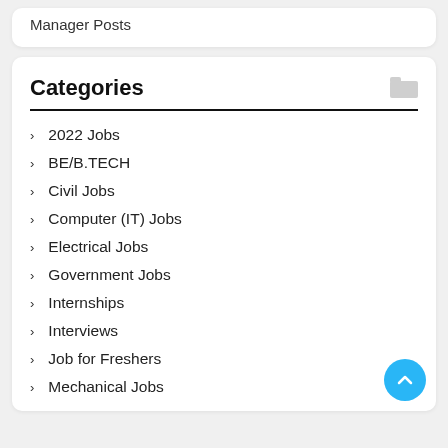Manager Posts
Categories
2022 Jobs
BE/B.TECH
Civil Jobs
Computer (IT) Jobs
Electrical Jobs
Government Jobs
Internships
Interviews
Job for Freshers
Mechanical Jobs